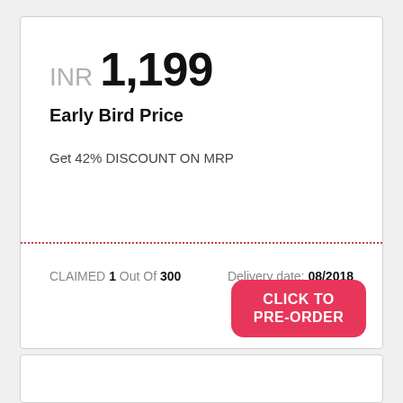INR 1,199
Early Bird Price
Get 42% DISCOUNT ON MRP
CLAIMED 1 Out Of 300
Delivery date: 08/2018
CLICK TO PRE-ORDER